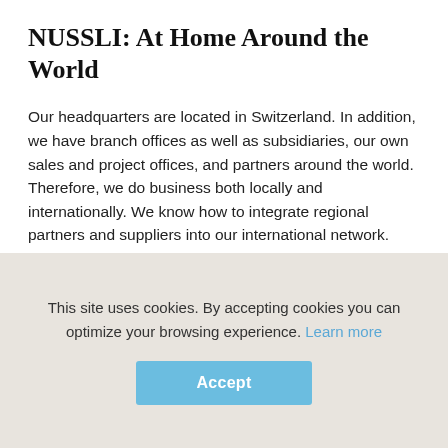NUSSLI: At Home Around the World
Our headquarters are located in Switzerland. In addition, we have branch offices as well as subsidiaries, our own sales and project offices, and partners around the world. Therefore, we do business both locally and internationally. We know how to integrate regional partners and suppliers into our international network. This provides us with local know-how and shortens lead times for procurement.
This site uses cookies. By accepting cookies you can optimize your browsing experience. Learn more
Accept